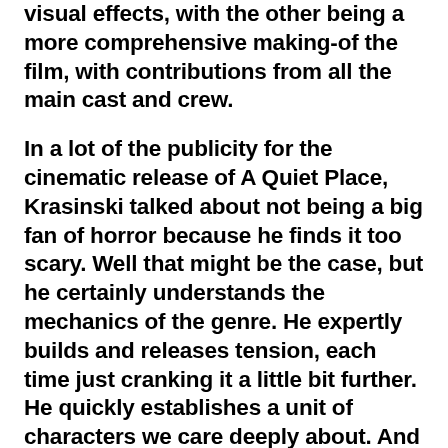visual effects, with the other being a more comprehensive making-of the film, with contributions from all the main cast and crew.
In a lot of the publicity for the cinematic release of A Quiet Place, Krasinski talked about not being a big fan of horror because he finds it too scary. Well that might be the case, but he certainly understands the mechanics of the genre. He expertly builds and releases tension, each time just cranking it a little bit further. He quickly establishes a unit of characters we care deeply about. And of